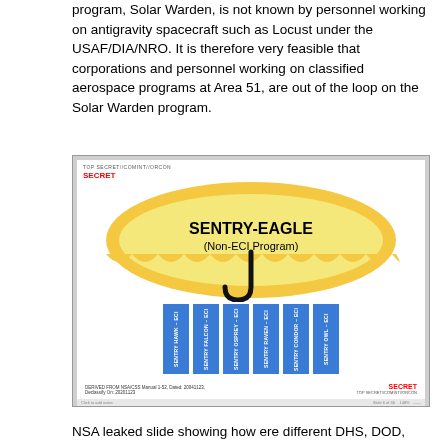program, Solar Warden, is not known by personnel working on antigravity spacecraft such as Locust under the USAF/DIA/NRO. It is therefore very feasible that corporations and personnel working on classified aerospace programs at Area 51, are out of the loop on the Solar Warden program.
[Figure (infographic): NSA leaked slide showing SENTRY-EAGLE (Non-ECI Program) umbrella diagram with six compartments below: SENTRY HAWK - ECI, SENTRY FALCON - ECI, SENTRY OSPREY - ECI, SENTRY RAVEN - ECI, SENTRY CONDOR - ECI, SENTRY OWL - ECI. Marked SECRET / TOP SECRET//COMINT//ORCON. DERIVED FROM NSA/CSS Manual 1-52, Dated 20041123, Declassify On: 20201123.]
NSA leaked slide showing how ere different DHS, DOD,